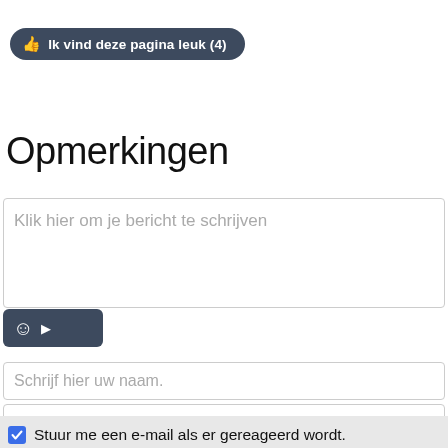[Figure (other): Like button with thumbs-up icon reading 'Ik vind deze pagina leuk (4)' on dark blue-grey pill background]
Opmerkingen
Klik hier om je bericht te schrijven
[Figure (other): Emoji/toolbar button bar with smiley face icon and arrow on dark blue-grey background]
Schrijf hier uw naam.
Schrijf hier uw emailadres.
Stuur me een e-mail als er gereageerd wordt.